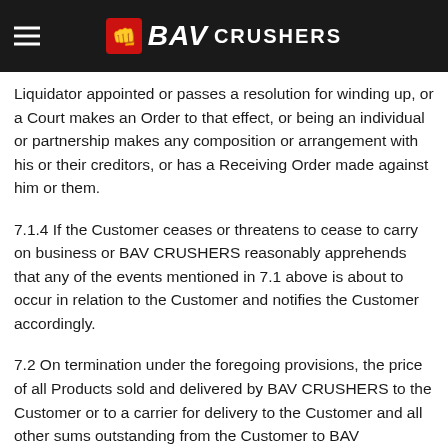BAV CRUSHERS
distraint, Claim or other proceeding to be taken for debt, or being a corporate having a Receiver, Administrator or Liquidator appointed or passes a resolution for winding up, or a Court makes an Order to that effect, or being an individual or partnership makes any composition or arrangement with his or their creditors, or has a Receiving Order made against him or them.
7.1.4 If the Customer ceases or threatens to cease to carry on business or BAV CRUSHERS reasonably apprehends that any of the events mentioned in 7.1 above is about to occur in relation to the Customer and notifies the Customer accordingly.
7.2 On termination under the foregoing provisions, the price of all Products sold and delivered by BAV CRUSHERS to the Customer or to a carrier for delivery to the Customer and all other sums outstanding from the Customer to BAV CRUSHERS on any account whatsoever shall immediately become due and payable notwithstanding any credit period